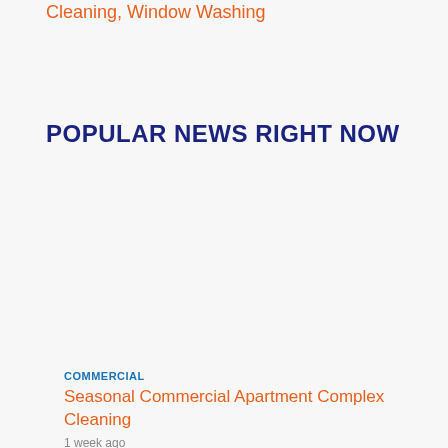Cleaning, Window Washing
POPULAR NEWS RIGHT NOW
COMMERCIAL
Seasonal Commercial Apartment Complex Cleaning
1 week ago